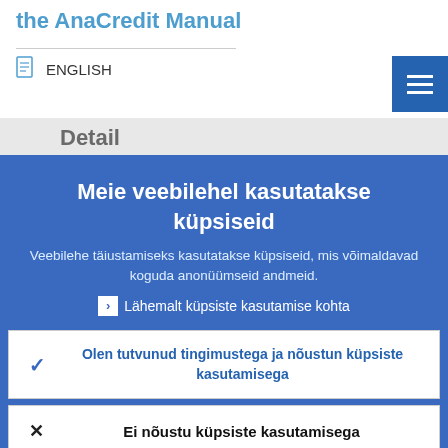the AnaCredit Manual
ENGLISH
Meie veebilehel kasutatakse küpsiseid
Veebilehe täiustamiseks kasutatakse küpsiseid, mis võimaldavad koguda anonüümseid andmeid.
Lähemalt küpsiste kasutamise kohta
Olen tutvunud tingimustega ja nõustun küpsiste kasutamisega
Ei nõustu küpsiste kasutamisega